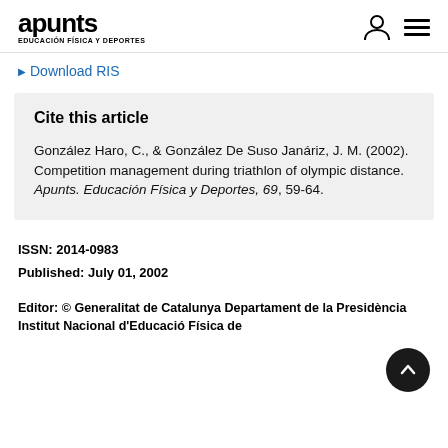apunts EDUCACIÓN FÍSICA Y DEPORTES
Download RIS
Cite this article
González Haro, C., & González De Suso Janáriz, J. M. (2002). Competition management during triathlon of olympic distance. Apunts. Educación Física y Deportes, 69, 59-64.
ISSN: 2014-0983
Published: July 01, 2002
Editor: © Generalitat de Catalunya Departament de la Presidència Institut Nacional d'Educació Física de